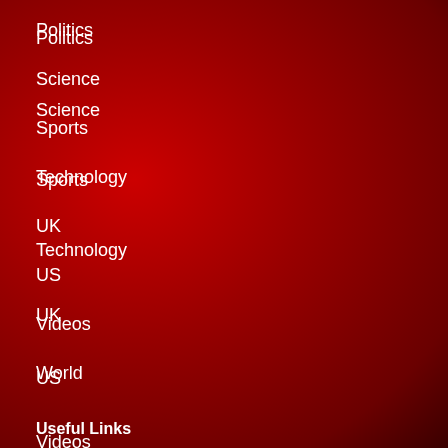Politics
Science
Sports
Technology
UK
US
Videos
World
Useful Links
DMCA / Copyrights Disclaimer
Terms and Conditions